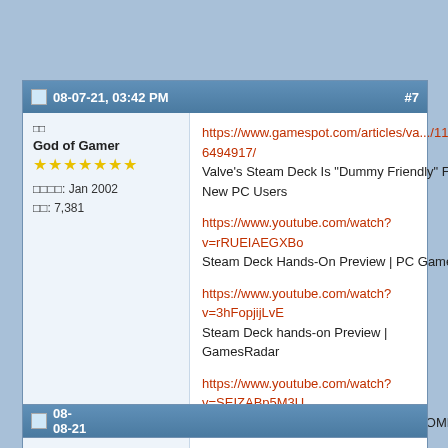08-07-21, 03:42 PM  #7
□□
God of Gamer
★★★★★★★
□□□□: Jan 2002
□□: 7,381
https://www.gamespot.com/articles/va.../1100-6494917/
Valve's Steam Deck Is "Dummy Friendly" For New PC Users

https://www.youtube.com/watch?v=rRUEIAEGXBo
Steam Deck Hands-On Preview | PC Gamer

https://www.youtube.com/watch?v=3hFopjijLvE
Steam Deck hands-on Preview | GamesRadar

https://www.youtube.com/watch?v=SEIZABp5M3U
I tried Steam Deck early and it's AWESOME!
08-08-21